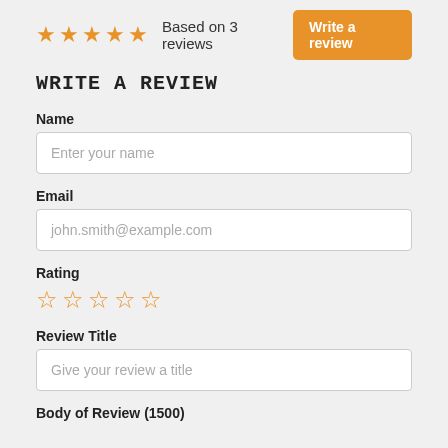[Figure (other): 5 filled orange stars rating display]
Based on 3 reviews
Write a review
WRITE A REVIEW
Name
Enter your name
Email
john.smith@example.com
Rating
[Figure (other): 5 empty orange star outlines for rating input]
Review Title
Give your review a title
Body of Review (1500)